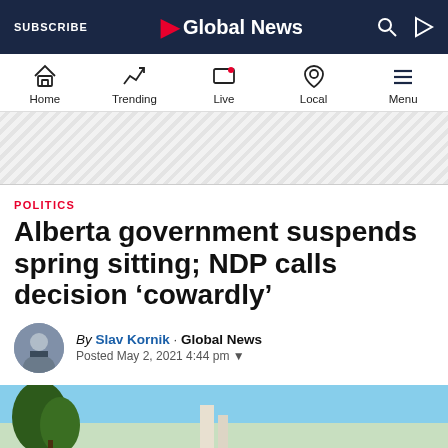SUBSCRIBE  Global News
[Figure (screenshot): Global News navigation bar with Home, Trending, Live, Local, Menu icons]
[Figure (other): Advertisement/banner placeholder with diagonal stripe pattern]
POLITICS
Alberta government suspends spring sitting; NDP calls decision 'cowardly'
By Slav Kornik · Global News Posted May 2, 2021 4:44 pm
[Figure (photo): Partial hero photo showing trees and sky, bottom of article header]